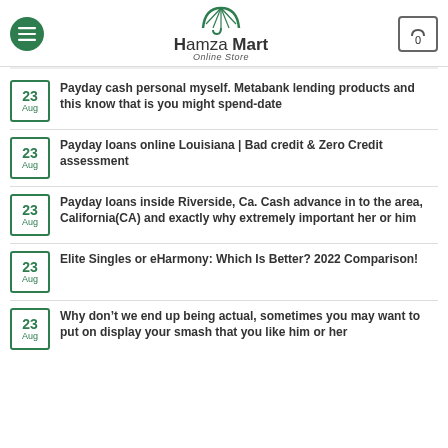Hamza Mart Online Store
Payday cash personal myself. Metabank lending products and this know that is you might spend-date
Payday loans online Louisiana | Bad credit & Zero Credit assessment
Payday loans inside Riverside, Ca. Cash advance in to the area, California(CA) and exactly why extremely important her or him
Elite Singles or eHarmony: Which Is Better? 2022 Comparison!
Why don’t we end up being actual, sometimes you may want to put on display your smash that you like him or her